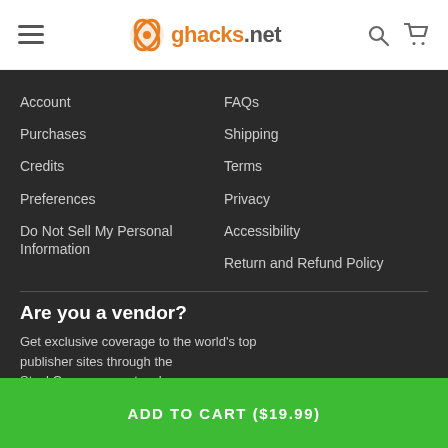ghacks.net
Account
Purchases
Credits
Preferences
Do Not Sell My Personal Information
FAQs
Shipping
Terms
Privacy
Accessibility
Return and Refund Policy
Are you a vendor?
Get exclusive coverage to the world's top publisher sites through the StackCommerce network.
Learn More
ADD TO CART ($19.99)